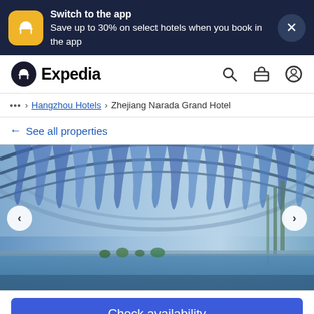[Figure (screenshot): Expedia app promotion banner with yellow airplane icon, text 'Switch to the app / Save up to 30% on select hotels when you book in the app', and a close X button]
[Figure (logo): Expedia logo with navigation icons (search, briefcase, account)]
... > Hangzhou Hotels > Zhejiang Narada Grand Hotel
← See all properties
[Figure (photo): Indoor swimming pool area of Zhejiang Narada Grand Hotel with decorative blue draped ceiling and arched glass roof structure]
Check availability